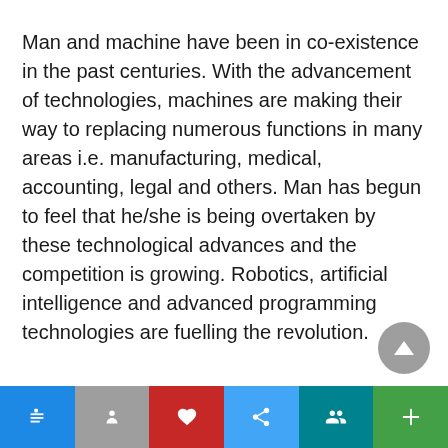Man and machine have been in co-existence in the past centuries. With the advancement of technologies, machines are making their way to replacing numerous functions in many areas i.e. manufacturing, medical, accounting, legal and others. Man has begun to feel that he/she is being overtaken by these technological advances and the competition is growing. Robotics, artificial intelligence and advanced programming technologies are fuelling the revolution.